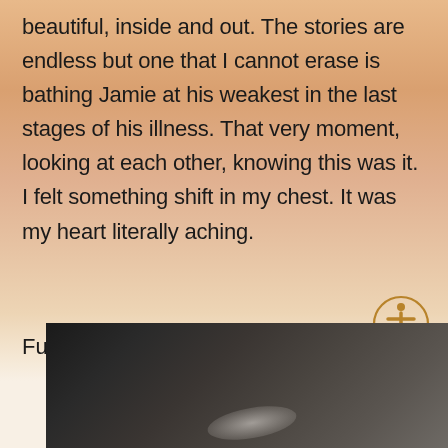beautiful, inside and out. The stories are endless but one that I cannot erase is bathing Jamie at his weakest in the last stages of his illness. That very moment, looking at each other, knowing this was it. I felt something shift in my chest. It was my heart literally aching.
Fuck I miss him.
[Figure (illustration): Accessibility icon — a circular golden-bordered button with a human figure symbol in amber/brown color]
[Figure (illustration): Upward-pointing arrow in amber/brown color indicating scroll up]
[Figure (photo): Black and white photograph, partially visible at the bottom of the page, showing a blurred dark subject with soft highlights]